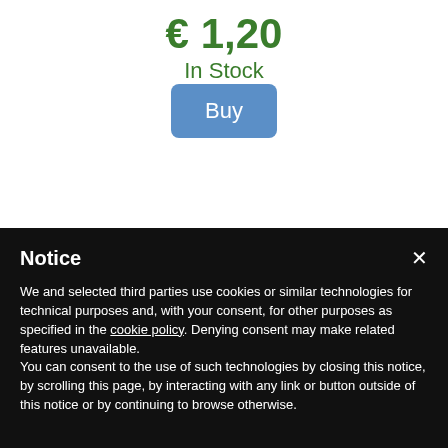€ 1,20
In Stock
[Figure (screenshot): Blue rounded Buy button]
Notice
We and selected third parties use cookies or similar technologies for technical purposes and, with your consent, for other purposes as specified in the cookie policy. Denying consent may make related features unavailable.
You can consent to the use of such technologies by closing this notice, by scrolling this page, by interacting with any link or button outside of this notice or by continuing to browse otherwise.